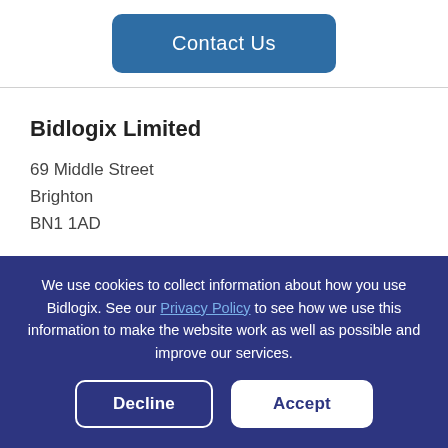[Figure (other): Blue 'Contact Us' button with rounded corners]
Bidlogix Limited
69 Middle Street
Brighton
BN1 1AD
We use cookies to collect information about how you use Bidlogix. See our Privacy Policy to see how we use this information to make the website work as well as possible and improve our services.
Decline  Accept